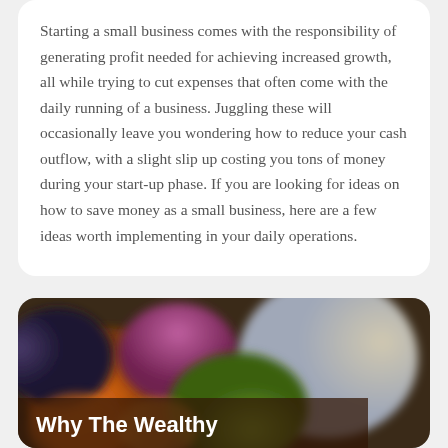Starting a small business comes with the responsibility of generating profit needed for achieving increased growth, all while trying to cut expenses that often come with the daily running of a business. Juggling these will occasionally leave you wondering how to reduce your cash outflow, with a slight slip up costing you tons of money during your start-up phase. If you are looking for ideas on how to save money as a small business, here are a few ideas worth implementing in your daily operations.
[Figure (photo): Blurred photo of colorful fresh produce (oranges, grapes, vegetables) at a market. A dark semi-transparent overlay bar at the bottom contains the text 'Why The Wealthy' in bold white.]